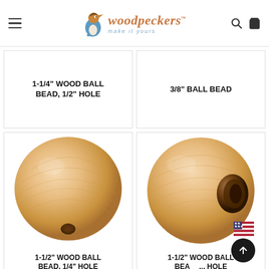woodpeckers — make it yours
1-1/4" WOOD BALL BEAD, 1/2" HOLE
3/8" BALL BEAD
[Figure (photo): Wooden ball bead with small hole, natural unfinished wood, 1-1/2 inch size]
1-1/2" WOOD BALL BEAD, 1/4" HOLE
[Figure (photo): Wooden ball bead with large hole visible, natural unfinished wood, 1-1/2 inch size]
1-1/2" WOOD BALL BEAD, ... HOLE